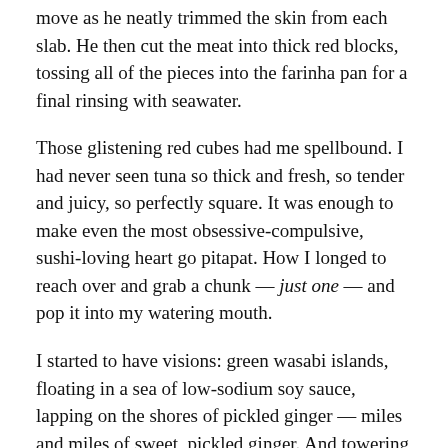move as he neatly trimmed the skin from each slab. He then cut the meat into thick red blocks, tossing all of the pieces into the farinha pan for a final rinsing with seawater.
Those glistening red cubes had me spellbound. I had never seen tuna so thick and fresh, so tender and juicy, so perfectly square. It was enough to make even the most obsessive-compulsive, sushi-loving heart go pitapat. How I longed to reach over and grab a chunk — just one — and pop it into my watering mouth.
I started to have visions: green wasabi islands, floating in a sea of low-sodium soy sauce, lapping on the shores of pickled ginger — miles and miles of sweet, pickled ginger. And towering over those ginger beaches, like the granite domes of Pão de Açucar, Dois Irmãos, and Pedra da Gavea, were ice-cold bottles of Japanese beer — the big ones — to wash it all down.
Kirin, Asahi, Sapporo—oh, oh!